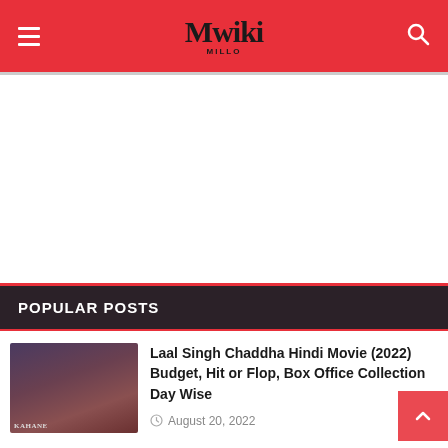Mwiki
POPULAR POSTS
Laal Singh Chaddha Hindi Movie (2022) Budget, Hit or Flop, Box Office Collection Day Wise
August 20, 2022